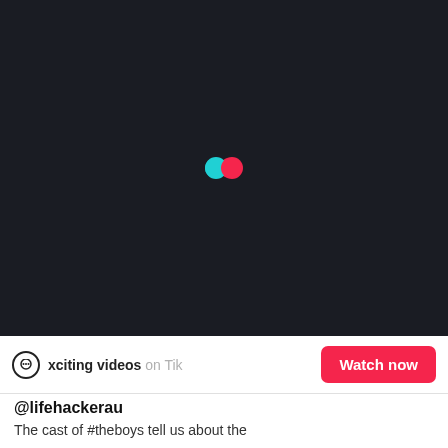[Figure (screenshot): TikTok video player area with dark background (#1a1c23) and TikTok loading logo (cyan and red overlapping dots) centered in the frame.]
xciting videos on Tik   Watch now
@lifehackerau
The cast of #theboys tell us about the